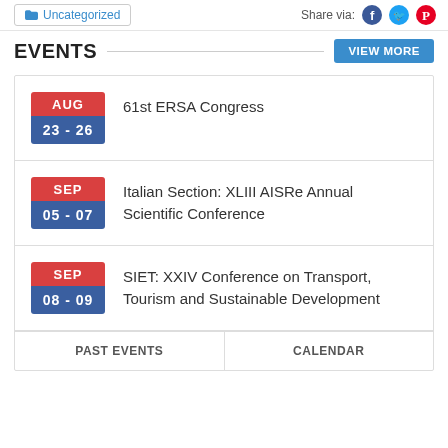Uncategorized | Share via:
EVENTS
AUG 23 - 26 | 61st ERSA Congress
SEP 05 - 07 | Italian Section: XLIII AISRe Annual Scientific Conference
SEP 08 - 09 | SIET: XXIV Conference on Transport, Tourism and Sustainable Development
PAST EVENTS | CALENDAR